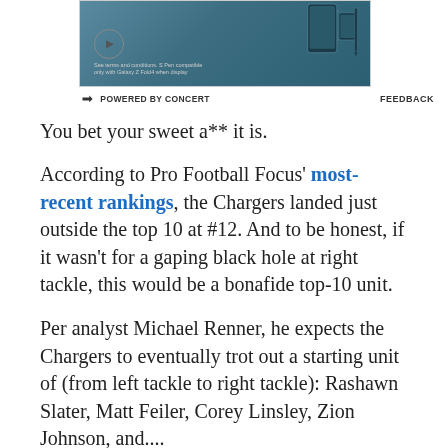[Figure (screenshot): Advertisement banner showing a Samsung Galaxy Z Fold phone device on a teal/blue background with a play button circle icon and fine print text at bottom left]
POWERED BY CONCERT    FEEDBACK
You bet your sweet a** it is.
According to Pro Football Focus' most-recent rankings, the Chargers landed just outside the top 10 at #12. And to be honest, if it wasn't for a gaping black hole at right tackle, this would be a bonafide top-10 unit.
Per analyst Michael Renner, he expects the Chargers to eventually trot out a starting unit of (from left tackle to right tackle): Rashawn Slater, Matt Feiler, Corey Linsley, Zion Johnson, and....
(truncated)